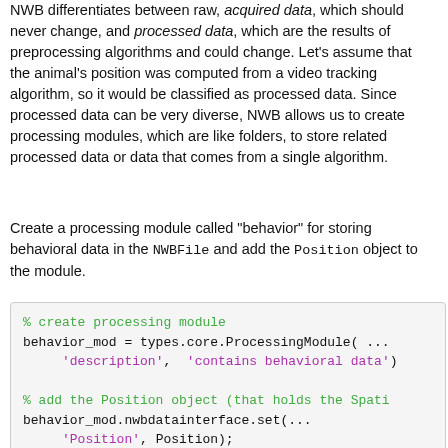NWB differentiates between raw, acquired data, which should never change, and processed data, which are the results of preprocessing algorithms and could change. Let's assume that the animal's position was computed from a video tracking algorithm, so it would be classified as processed data. Since processed data can be very diverse, NWB allows us to create processing modules, which are like folders, to store related processed data or data that comes from a single algorithm.
Create a processing module called "behavior" for storing behavioral data in the NWBFile and add the Position object to the module.
[Figure (screenshot): Code block showing MATLAB code: creating a processing module called 'behavior' with description 'contains behavioral data', adding Position object to the module, and adding the processing module to the NWBFile object.]